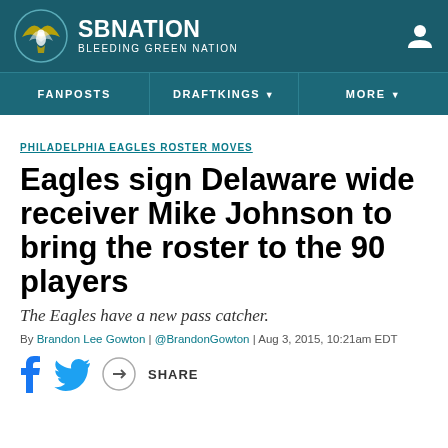SB NATION | BLEEDING GREEN NATION
FANPOSTS | DRAFTKINGS | MORE
PHILADELPHIA EAGLES ROSTER MOVES
Eagles sign Delaware wide receiver Mike Johnson to bring the roster to the 90 players
The Eagles have a new pass catcher.
By Brandon Lee Gowton | @BrandonGowton | Aug 3, 2015, 10:21am EDT